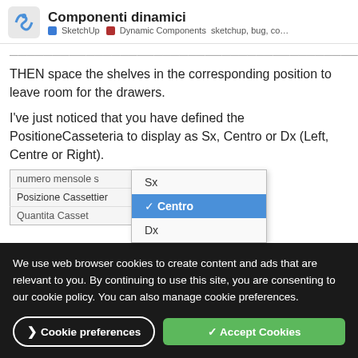Componenti dinamici — SketchUp | Dynamic Components sketchup, bug, co…
THEN space the shelves in the corresponding position to leave room for the drawers.
I've just noticed that you have defined the PositioneCasseteria to display as Sx, Centro or Dx (Left, Centre or Right).
[Figure (screenshot): Screenshot of a dynamic component attribute editor showing a dropdown with options: Sx, Centro (selected/highlighted in blue), Dx. Table rows visible: 'numero mensole s', 'Posizione Cassettier', 'Quantita Casset'.]
but to give it it from your list the same value as the shelf Y position + 6 cm.
[Figure (screenshot): Partial screenshot of input bar showing 'PosizioneC' label and 'PinioneControlY+6' value, partially cropped.]
We use web browser cookies to create content and ads that are relevant to you. By continuing to use this site, you are consenting to our cookie policy. You can also manage cookie preferences.